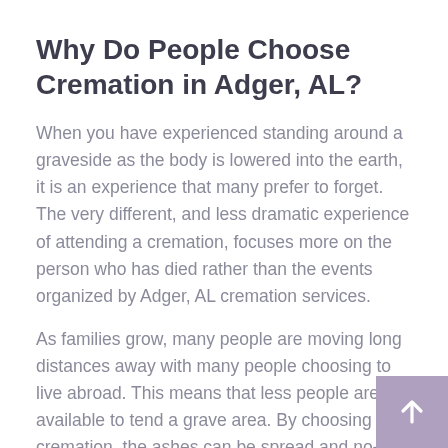Why Do People Choose Cremation in Adger, AL?
When you have experienced standing around a graveside as the body is lowered into the earth, it is an experience that many prefer to forget. The very different, and less dramatic experience of attending a cremation, focuses more on the person who has died rather than the events organized by Adger, AL cremation services.
As families grow, many people are moving long distances away with many people choosing to live abroad. This means that less people are available to tend a grave area. By choosing a cremation, the ashes can be spread and no-one is required to keep fresh flowers in a particular area to maintain a memory.